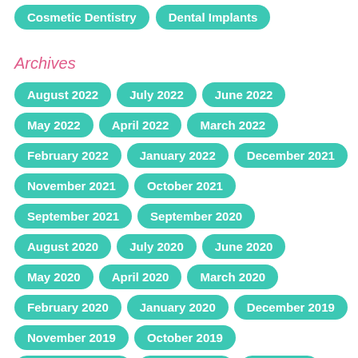Cosmetic Dentistry
Dental Implants
Archives
August 2022
July 2022
June 2022
May 2022
April 2022
March 2022
February 2022
January 2022
December 2021
November 2021
October 2021
September 2021
September 2020
August 2020
July 2020
June 2020
May 2020
April 2020
March 2020
February 2020
January 2020
December 2019
November 2019
October 2019
September 2019
August 2019
July 2019
June 2019
May 2019
April 2019
March 2019
February 2019
January 2019
October 2018